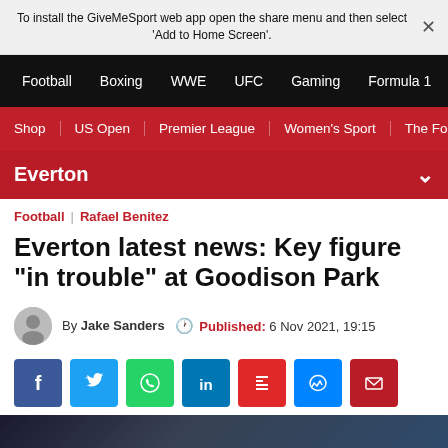To install the GiveMeSport web app open the share menu and then select 'Add to Home Screen'.
Football | Boxing | WWE | UFC | Gaming | Formula 1
Shop | US Open | Premier League | Women's Sport | The Fo
Everton
Football | Rafael Benitez
Everton latest news: Key figure "in trouble" at Goodison Park
By Jake Sanders  Published: 6 Nov 2021, 19:15
[Figure (other): Social sharing icons: Facebook, Twitter, WhatsApp, LinkedIn, Flipboard, Messenger, Email]
[Figure (photo): Partial image at bottom of page, appears to show a person]